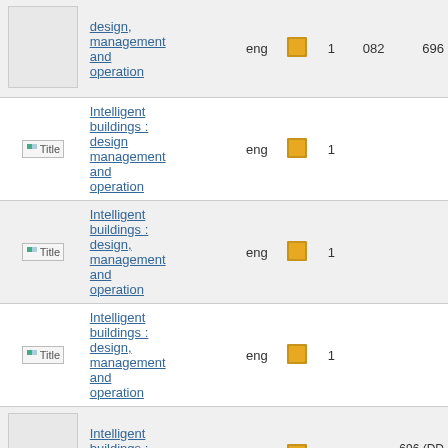| Thumbnail | Title | Language | Icon | Count | DDC1 | DDC2 |
| --- | --- | --- | --- | --- | --- | --- |
| [image] | design, management and operation | eng | [book] | 1 | 082 | 696 |
| Title | Intelligent buildings : design management and operation | eng | [book] | 1 |  |  |
| Title | Intelligent buildings : design, management and operation | eng | [book] | 1 |  |  |
| Title | Intelligent buildings : design, management and operation | eng | [book] | 1 |  |  |
| [image] | Intelligent buildings : design, management... | eng | [book] | 1 | 082 | 696 (DD 22) |